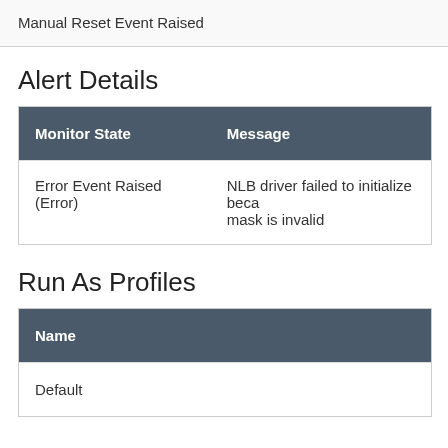Manual Reset Event Raised
Alert Details
| Monitor State | Message |
| --- | --- |
| Error Event Raised (Error) | NLB driver failed to initialize because the subnet mask is invalid |
Run As Profiles
| Name |
| --- |
| Default |